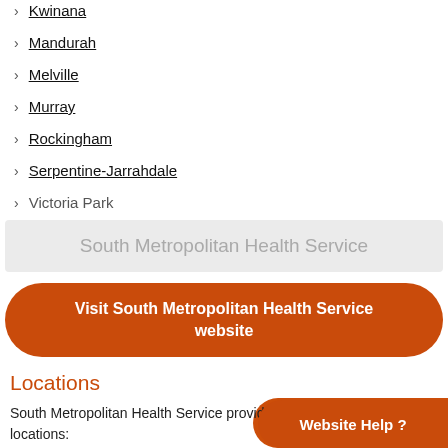Kwinana
Mandurah
Melville
Murray
Rockingham
Serpentine-Jarrahdale
Victoria Park
South Metropolitan Health Service
Visit South Metropolitan Health Service website
Locations
South Metropolitan Health Service provides services from these locations:
Fiona Stanley Hospital
Cardiac Rehabilitation - Cockburn Central
Website Help ?